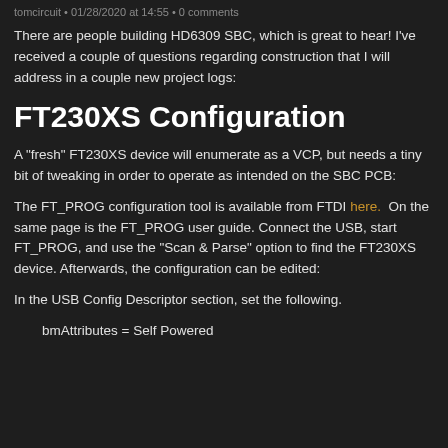tomcircuit • 01/28/2020 at 14:55 • 0 comments
There are people building HD6309 SBC, which is great to hear! I've received a couple of questions regarding construction that I will address in a couple new project logs:
FT230XS Configuration
A "fresh" FT230XS device will enumerate as a VCP, but needs a tiny bit of tweaking in order to operate as intended on the SBC PCB:
The FT_PROG configuration tool is available from FTDI here.  On the same page is the FT_PROG user guide.  Connect the USB, start FT_PROG, and use the "Scan & Parse" option to find the FT230XS device. Afterwards, the configuration can be edited:
In the USB Config Descriptor section, set the following.
bmAttributes = Self Powered